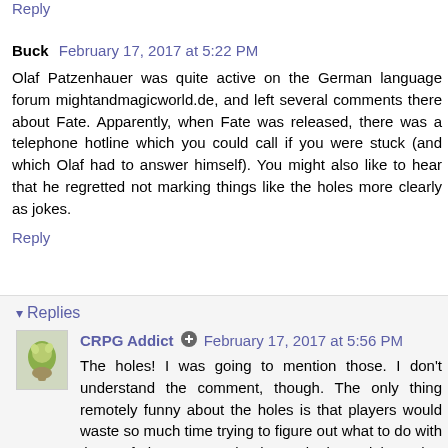Reply
Buck  February 17, 2017 at 5:22 PM
Olaf Patzenhauer was quite active on the German language forum mightandmagicworld.de, and left several comments there about Fate. Apparently, when Fate was released, there was a telephone hotline which you could call if you were stuck (and which Olaf had to answer himself). You might also like to hear that he regretted not marking things like the holes more clearly as jokes.
Reply
Replies
CRPG Addict  February 17, 2017 at 5:56 PM
The holes! I was going to mention those. I don't understand the comment, though. The only thing remotely funny about the holes is that players would waste so much time trying to figure out what to do with them. If they were "clearly marked" as jokes, that would defeat the entire